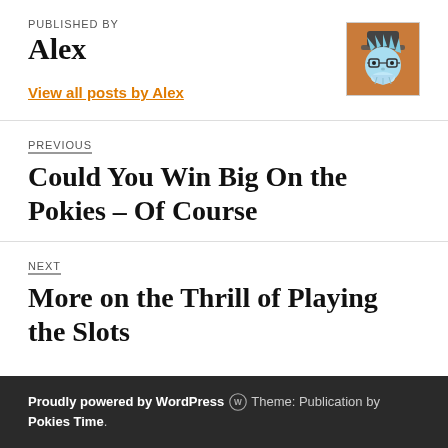PUBLISHED BY
Alex
[Figure (illustration): Avatar image of a cartoon character with glasses and spiky blue/light blue hair, wearing a hat, on a brown/orange background]
View all posts by Alex
PREVIOUS
Could You Win Big On the Pokies – Of Course
NEXT
More on the Thrill of Playing the Slots
Proudly powered by WordPress ® Theme: Publication by Pokies Time.